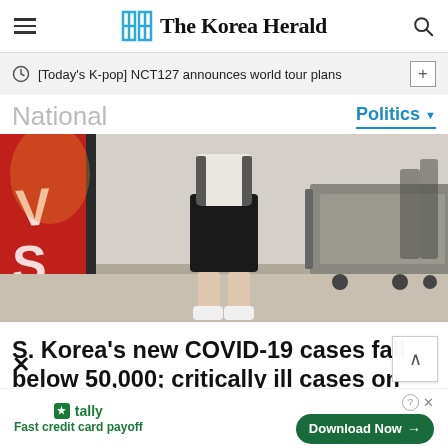The Korea Herald
[Today's K-pop] NCT127 announces world tour plans
National
Politics
[Figure (photo): Person in black shorts and white shoes standing at what appears to be an airport or travel hub, with luggage carts and a red sign visible in the background.]
S. Korea's new COVID-19 cases fall below 50,000; critically ill cases on the rise
Fast credit card payoff
Download Now →